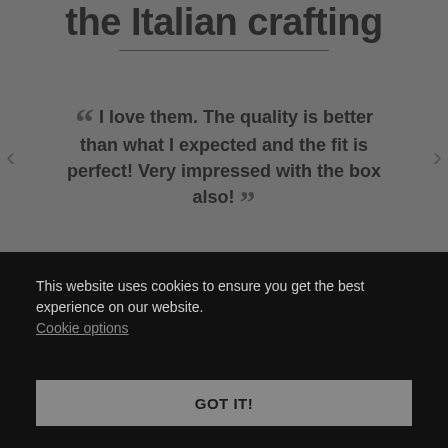the Italian crafting
“ I love them. The quality is better than what I expected and the fit is perfect! Very impressed with the box also! ”
This website uses cookies to ensure you get the best experience on our website. Cookie options
GOT IT!